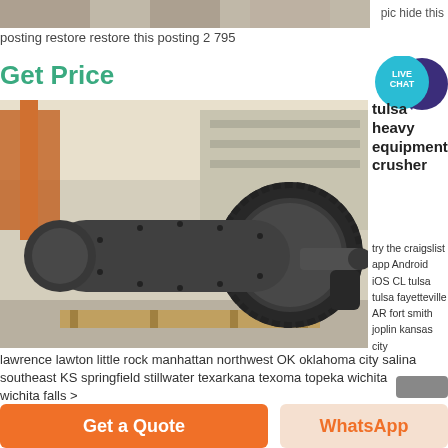[Figure (photo): Top strip showing partial industrial/machinery photo]
pic hide this
posting restore restore this posting 2 795
Get Price
[Figure (photo): Large industrial ball mill / crusher machine in a factory warehouse setting, heavy industrial equipment with large gear ring]
[Figure (other): LIVE CHAT button/bubble in teal and dark purple]
tulsa heavy equipment crusher
try the craigslist app Android iOS CL tulsa tulsa fayetteville AR fort smith joplin kansas city
lawrence lawton little rock manhattan northwest OK oklahoma city salina southeast KS springfield stillwater texarkana texoma topeka wichita wichita falls >